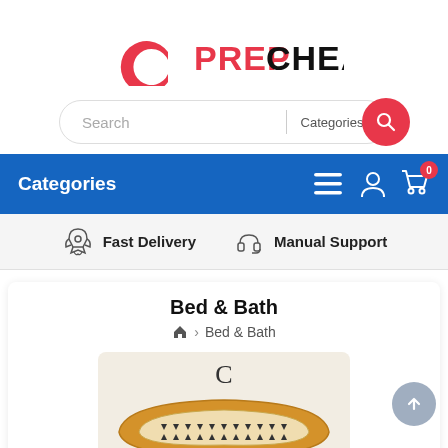[Figure (logo): PrepCheap logo with red C icon and text PrepCheap in red and black]
[Figure (screenshot): Search bar with Categories dropdown and red search button]
[Figure (screenshot): Blue navigation bar with Categories text, hamburger menu, user icon, and cart icon with 0 badge]
[Figure (infographic): Feature bar with rocket icon and Fast Delivery text, headset icon and Manual Support text]
Bed & Bath
Home > Bed & Bath
[Figure (photo): Partial product image of a decorative pillow with yellow/gold border and geometric pattern, with letter C above it]